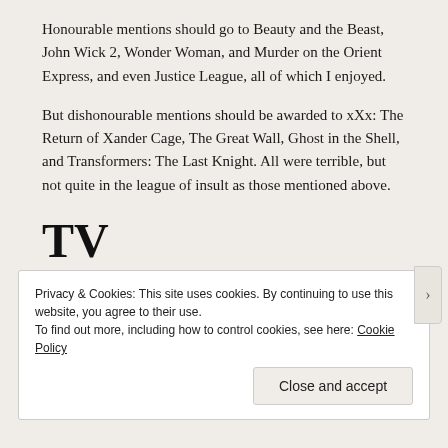Honourable mentions should go to Beauty and the Beast, John Wick 2, Wonder Woman, and Murder on the Orient Express, and even Justice League, all of which I enjoyed.
But dishonourable mentions should be awarded to xXx: The Return of Xander Cage, The Great Wall, Ghost in the Shell, and Transformers: The Last Knight. All were terrible, but not quite in the league of insult as those mentioned above.
TV
I'll stick to the good stuff on the small screen, as I tend to only catch the stuff I know I like.
Privacy & Cookies: This site uses cookies. By continuing to use this website, you agree to their use.
To find out more, including how to control cookies, see here: Cookie Policy
Close and accept